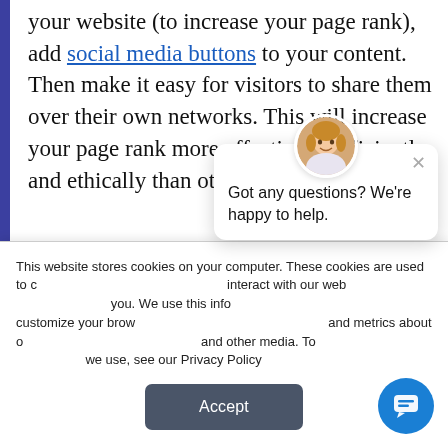your website (to increase your page rank), add social media buttons to your content. Then make it easy for visitors to share them over their own networks. This will increase your page rank more effectively, efficiently and ethically than other ways.
Using The Right Keywords
[Figure (screenshot): Cookie consent banner overlay with text about website cookies and privacy policy, an Accept button, a chat widget popup with avatar photo of a woman, close button, and message 'Got any questions? We're happy to help.', and a blue circular chat bubble button in bottom right.]